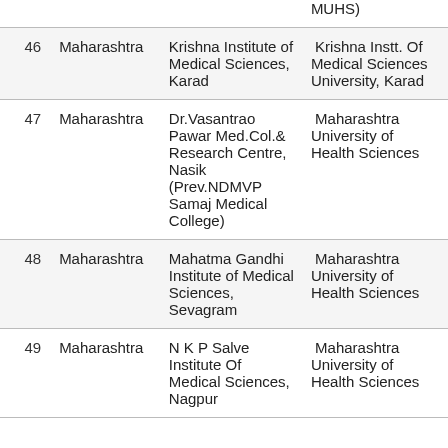| No. | State | Institution | University |
| --- | --- | --- | --- |
|  |  |  | MUHS) |
| 46 | Maharashtra | Krishna Institute of Medical Sciences, Karad | Krishna Instt. Of Medical Sciences University, Karad |
| 47 | Maharashtra | Dr.Vasantrao Pawar Med.Col.& Research Centre, Nasik (Prev.NDMVP Samaj Medical College) | Maharashtra University of Health Sciences |
| 48 | Maharashtra | Mahatma Gandhi Institute of Medical Sciences, Sevagram | Maharashtra University of Health Sciences |
| 49 | Maharashtra | N K P Salve Institute Of Medical Sciences, Nagpur | Maharashtra University of Health Sciences |